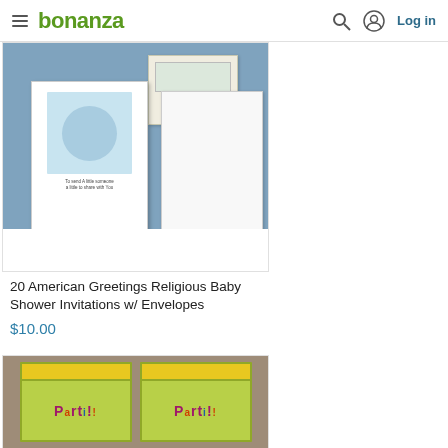bonanza — Log in
[Figure (photo): Photo of American Greetings Religious Baby Shower Invitations with envelopes displayed on blue background]
20 American Greetings Religious Baby Shower Invitations w/ Envelopes
$10.00
[Figure (photo): Photo of two Party invitation packs with green background and colorful Party! text]